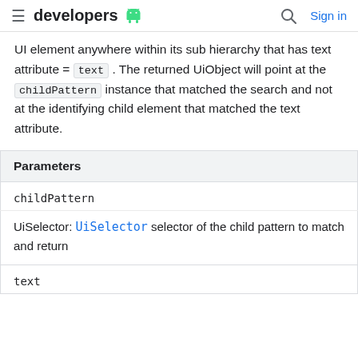developers [android logo] | [search icon] Sign in
UI element anywhere within its sub hierarchy that has text attribute = text . The returned UiObject will point at the childPattern instance that matched the search and not at the identifying child element that matched the text attribute.
| Parameters |
| --- |
| childPattern |
| UiSelector: UiSelector selector of the child pattern to match and return |
| text |